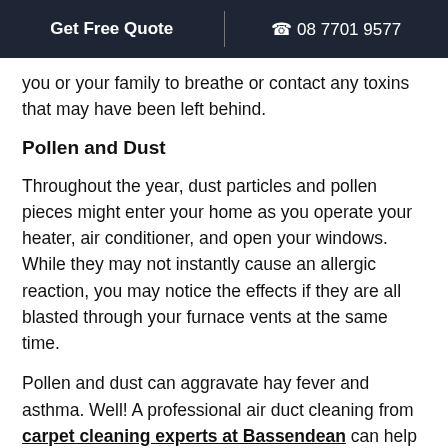Get Free Quote | 08 7701 9577
you or your family to breathe or contact any toxins that may have been left behind.
Pollen and Dust
Throughout the year, dust particles and pollen pieces might enter your home as you operate your heater, air conditioner, and open your windows. While they may not instantly cause an allergic reaction, you may notice the effects if they are all blasted through your furnace vents at the same time.
Pollen and dust can aggravate hay fever and asthma. Well! A professional air duct cleaning from carpet cleaning experts at Bassendean can help you solve this problem. A trained specialist will enter your